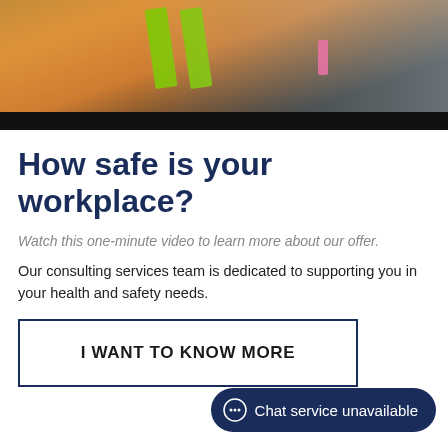[Figure (photo): Worker wearing an orange high-visibility vest with green reflective stripes, photographed from chest up. Black bar at bottom of image strip.]
How safe is your workplace?
Watch this one-minute video to learn more about our offer.
Our consulting services team is dedicated to supporting you in your health and safety needs.
I WANT TO KNOW MORE
Chat service unavailable